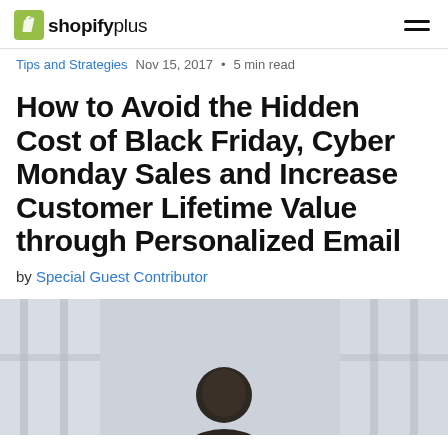Shopify Plus
Tips and Strategies  Nov 15, 2017 • 5 min read
How to Avoid the Hidden Cost of Black Friday, Cyber Monday Sales and Increase Customer Lifetime Value through Personalized Email
by Special Guest Contributor
[Figure (photo): A person photographed from above the shoulders, in a bright office with windows in the background]